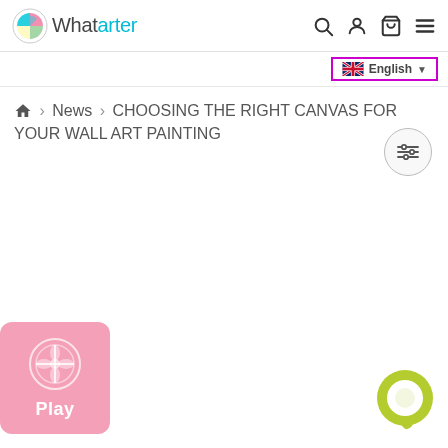Whatarter — navigation header with logo, search, account, cart, and menu icons
English (language selector)
🏠 › News › CHOOSING THE RIGHT CANVAS FOR YOUR WALL ART PAINTING
[Figure (other): Filter/sliders circular button]
[Figure (other): Pink Play widget button with compass/navigation icon]
[Figure (other): Yellow-green circular chat bubble button]